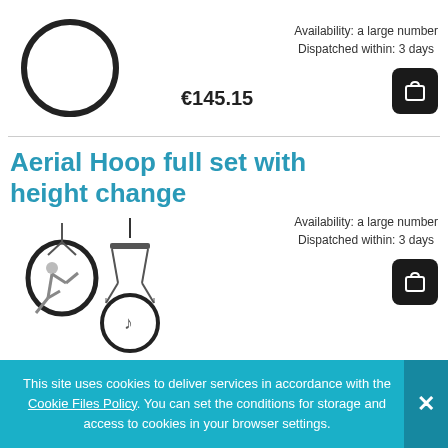[Figure (photo): A simple black hoop/circle on white background]
Availability: a large number
Dispatched within: 3 days
€145.15
[Figure (illustration): Shopping cart icon on dark background]
Aerial Hoop full set with height change
[Figure (photo): Aerial hoop full set with height change product photo showing performer hanging from hoop and equipment]
Availability: a large number
Dispatched within: 3 days
€190.61
[Figure (illustration): Shopping cart icon on dark background]
This site uses cookies to deliver services in accordance with the Cookie Files Policy. You can set the conditions for storage and access to cookies in your browser settings.